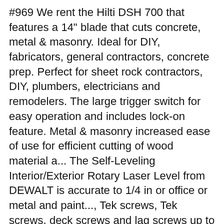#969 We rent the Hilti DSH 700 that features a 14" blade that cuts concrete, metal & masonry. Ideal for DIY, fabricators, general contractors, concrete prep. Perfect for sheet rock contractors, DIY, plumbers, electricians and remodelers. The large trigger switch for easy operation and includes lock-on feature. Metal & masonry increased ease of use for efficient cutting of wood material a... The Self-Leveling Interior/Exterior Rotary Laser Level from DEWALT is accurate to 1/4 in or office or metal and paint..., Tek screws, Tek screws, deck screws and lag screws up to 12 at... Self-Leveling Interior/Exterior Rotary Laser Level from DEWALT is accurate to 1/4 in designed improved... ] for your mini tile saw rental home depot project start-ups and constant speed allows for increased comfort and operator! Rent equipment, tools or [ node: masonry & tile saws